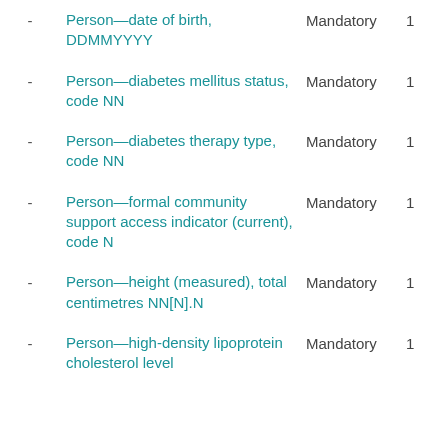- Person—date of birth, DDMMYYYY    Mandatory    1
- Person—diabetes mellitus status, code NN    Mandatory    1
- Person—diabetes therapy type, code NN    Mandatory    1
- Person—formal community support access indicator (current), code N    Mandatory    1
- Person—height (measured), total centimetres NN[N].N    Mandatory    1
- Person—high-density lipoprotein cholesterol level    Mandatory    1